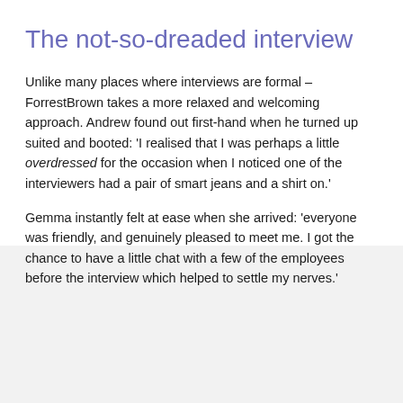The not-so-dreaded interview
Unlike many places where interviews are formal – ForrestBrown takes a more relaxed and welcoming approach. Andrew found out first-hand when he turned up suited and booted: 'I realised that I was perhaps a little overdressed for the occasion when I noticed one of the interviewers had a pair of smart jeans and a shirt on.'
Gemma instantly felt at ease when she arrived: 'everyone was friendly, and genuinely pleased to meet me. I got the chance to have a little chat with a few of the employees before the interview which helped to settle my nerves.'